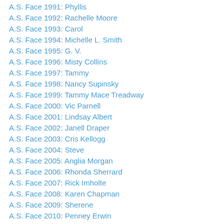A.S. Face 1991: Phyllis
A.S. Face 1992: Rachelle Moore
A.S. Face 1993: Carol
A.S. Face 1994: Michelle L. Smith
A.S. Face 1995: G. V.
A.S. Face 1996: Misty Collins
A.S. Face 1997: Tammy
A.S. Face 1998: Nancy Supinsky
A.S. Face 1999: Tammy Mace Treadway
A.S. Face 2000: Vic Parnell
A.S. Face 2001: Lindsay Albert
A.S. Face 2002: Janell Draper
A.S. Face 2003: Cris Kellogg
A.S. Face 2004: Steve
A.S. Face 2005: Anglia Morgan
A.S. Face 2006: Rhonda Sherrard
A.S. Face 2007: Rick Imholte
A.S. Face 2008: Karen Chapman
A.S. Face 2009: Sherene
A.S. Face 2010: Penney Erwin